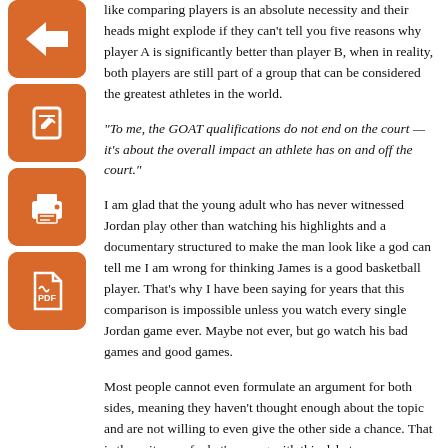like comparing players is an absolute necessity and their heads might explode if they can't tell you five reasons why player A is significantly better than player B, when in reality, both players are still part of a group that can be considered the greatest athletes in the world.
“To me, the GOAT qualifications do not end on the court — it’s about the overall impact an athlete has on and off the court.”
I am glad that the young adult who has never witnessed Jordan play other than watching his highlights and a documentary structured to make the man look like a god can tell me I am wrong for thinking James is a good basketball player. That’s why I have been saying for years that this comparison is impossible unless you watch every single Jordan game ever. Maybe not ever, but go watch his bad games and good games.
Most people cannot even formulate an argument for both sides, meaning they haven’t thought enough about the topic and are not willing to even give the other side a chance. That is the epitome of what’s wrong with this debate.
I will mostly be talking about each of these incredible athletes’ off-court achievements with some on-court mixed in. Everyone who follows this debate knows a lot about the accolades from these players, so there is not much need for it